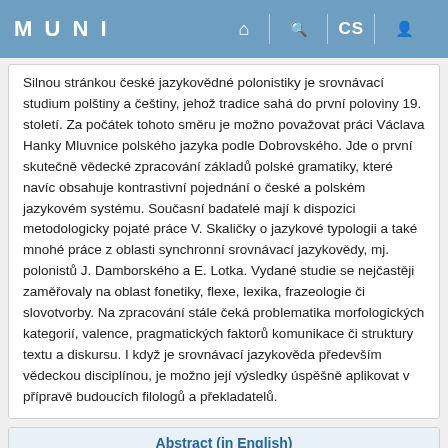MUNI
Silnou stránkou české jazykovědné polonistiky je srovnávací studium polštiny a češtiny, jehož tradice sahá do první poloviny 19. století. Za počátek tohoto směru je možno považovat práci Václava Hanky Mluvnice polského jazyka podle Dobrovského. Jde o první skutečně vědecké zpracování základů polské gramatiky, které navíc obsahuje kontrastivní pojednání o české a polském jazykovém systému. Současní badatelé mají k dispozici metodologicky pojaté práce V. Skaličky o jazykové typologii a také mnohé práce z oblasti synchronní srovnávací jazykovědy, mj. polonistů J. Damborského a E. Lotka. Vydané studie se nejčastěji zaměřovaly na oblast fonetiky, flexe, lexika, frazeologie či slovotvorby. Na zpracování stále čeká problematika morfologických kategorií, valence, pragmatických faktorů komunikace či struktury textu a diskursu. I když je srovnávací jazykověda především vědeckou disciplínou, je možno její výsledky úspěšně aplikovat v přípravě budoucích filologů a překladatelů.
Abstract (in English)
The foreign polonistics has today character of the integrated studies on Poland. The basic of this field of study and at the same time its integration element is always the philology,